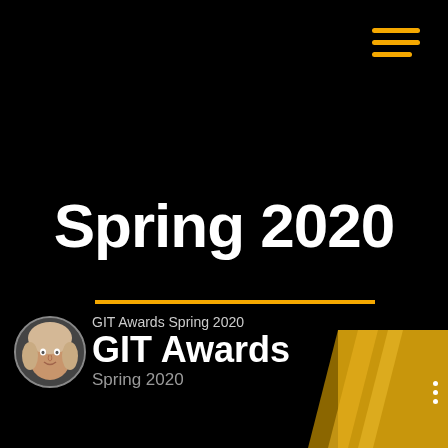[Figure (illustration): Hamburger menu icon with three horizontal gold/amber lines in top right corner]
Spring 2020
[Figure (illustration): Horizontal gold/amber divider line below the title]
[Figure (illustration): Bottom bar with circular profile photo of a woman with blonde hair, GIT Awards branding text, gold award trophy/badge shape on the right, and a three-dot vertical menu]
GIT Awards Spring 2020
GIT Awards